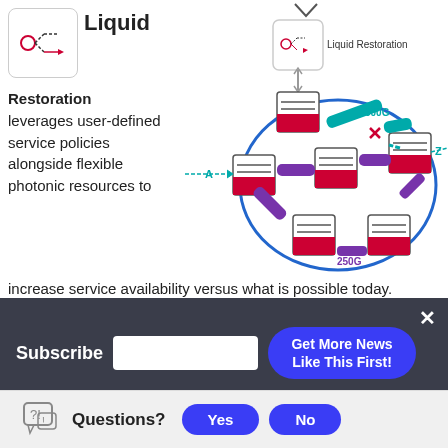[Figure (schematic): Small icon showing a dashed-line network restoration symbol with a red circle and arrow, representing Liquid Restoration]
Liquid
[Figure (network-graph): Network diagram showing Liquid Restoration concept: nodes connected in a ring/cloud topology with colored links (teal, purple), labels A, Z, 300G, 250G, a red X indicating a failure point, and a Liquid Restoration icon at the top with bidirectional arrow]
Restoration leverages user-defined service policies alongside flexible photonic resources to increase service availability versus what is possible today.
Subscribe
Get More News Like This First!
Questions?
Yes
No